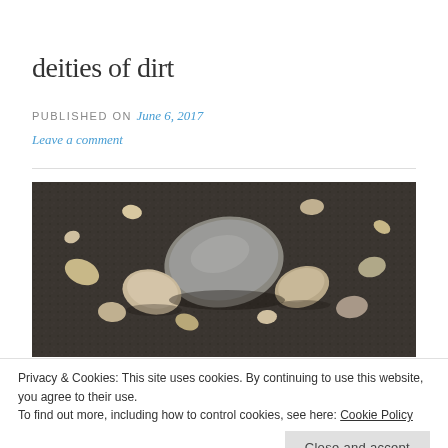deities of dirt
PUBLISHED ON June 6, 2017
Leave a comment
[Figure (photo): Overhead close-up photograph of rocks, pebbles, and dark gravel/dirt on the ground]
Privacy & Cookies: This site uses cookies. By continuing to use this website, you agree to their use.
To find out more, including how to control cookies, see here: Cookie Policy
Close and accept